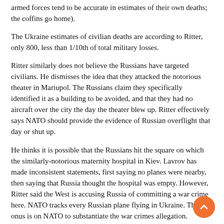armed forces tend to be accurate in estimates of their own deaths; the coffins go home).
The Ukraine estimates of civilian deaths are according to Ritter, only 800, less than 1/10th of total military losses.
Ritter similarly does not believe the Russians have targeted civilians. He dismisses the idea that they attacked the notorious theater in Mariupol. The Russians claim they specifically identified it as a building to be avoided, and that they had no aircraft over the city the day the theater blew up. Ritter effectively says NATO should provide the evidence of Russian overflight that day or shut up.
He thinks it is possible that the Russians hit the square on which the similarly-notorious maternity hospital in Kiev. Lavrov has made inconsistent statements, first saying no planes were nearby, then saying that Russia thought the hospital was empty. However, Ritter said the West is accusing Russia of committing a war crime here. NATO tracks every Russian plane flying in Ukraine. The onus is on NATO to substantiate the war crimes allegation.
How the West Helped Putin With Sanctions